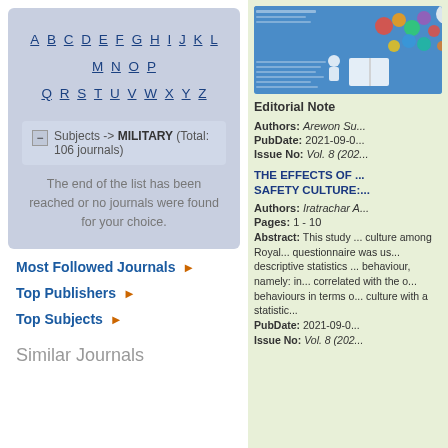A B C D E F G H I J K L M N O P Q R S T U V W X Y Z
- Subjects -> MILITARY (Total: 106 journals)
The end of the list has been reached or no journals were found for your choice.
Most Followed Journals ▶
Top Publishers ▶
Top Subjects ▶
Similar Journals
[Figure (illustration): Colorful journal cover with balloons and educational imagery on blue background]
Editorial Note
Authors: Arewon Su...
PubDate: 2021-09-0...
Issue No: Vol. 8 (202...
THE EFFECTS OF ... SAFETY CULTURE:...
Authors: Iratrachar A...
Pages: 1 - 10
Abstract: This study ... culture among Royal ... questionnaire was us... descriptive statistics ... behaviour, namely: in... correlated with the o... behaviours in terms o... culture with a statistic... PubDate: 2021-09-0... Issue No: Vol. 8 (202...